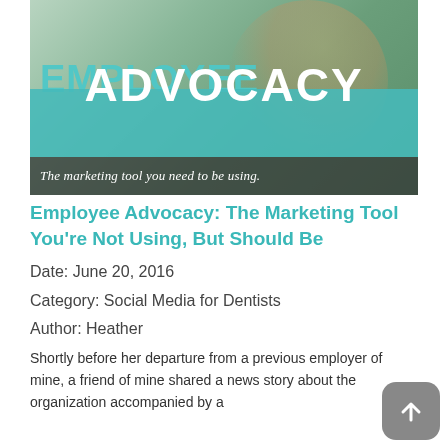[Figure (photo): Hero image showing a woman in a yellow top with large teal text overlays reading 'EMPLOYEE ADVOCACY — The marketing tool you need to be using.']
Employee Advocacy: The Marketing Tool You're Not Using, But Should Be
Date: June 20, 2016
Category: Social Media for Dentists
Author: Heather
Shortly before her departure from a previous employer of mine, a friend of mine shared a news story about the organization accompanied by a